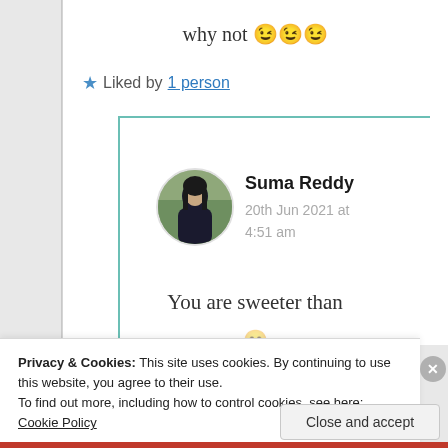why not 😉😉😉
★ Liked by 1 person
Suma Reddy
20th Jun 2021 at 4:51 am
[Figure (photo): Circular avatar photo of Suma Reddy]
You are sweeter than
Privacy & Cookies: This site uses cookies. By continuing to use this website, you agree to their use.
To find out more, including how to control cookies, see here: Cookie Policy
Close and accept